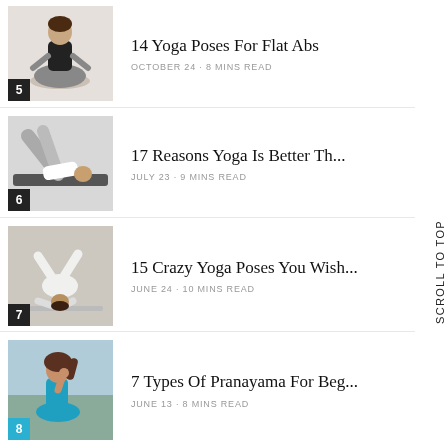14 Yoga Poses For Flat Abs
17 Reasons Yoga Is Better Th...
15 Crazy Yoga Poses You Wish...
7 Types Of Pranayama For Beg...